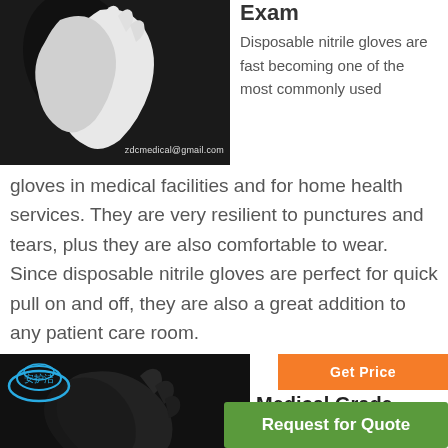[Figure (photo): White nitrile/latex gloves against a dark background, with watermark text 'zdcmedical@gmail.com']
Exam
Disposable nitrile gloves are fast becoming one of the most commonly used gloves in medical facilities and for home health services. They are very resilient to punctures and tears, plus they are also comfortable to wear. Since disposable nitrile gloves are perfect for quick pull on and off, they are also a great addition to any patient care room.
[Figure (photo): Black nitrile gloves against a dark background, with a blue cloud logo/icon in top left corner]
Get Price
Medical Grade Nitrile Gloves, Vinyl
Request for Quote